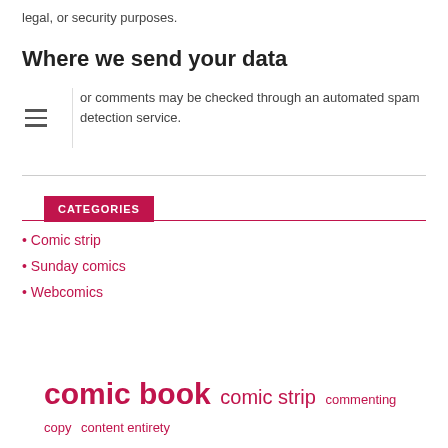legal, or security purposes.
Where we send your data
or comments may be checked through an automated spam ction service.
CATEGORIES
Comic strip
Sunday comics
Webcomics
comic book  comic strip  commenting copy  content entirety